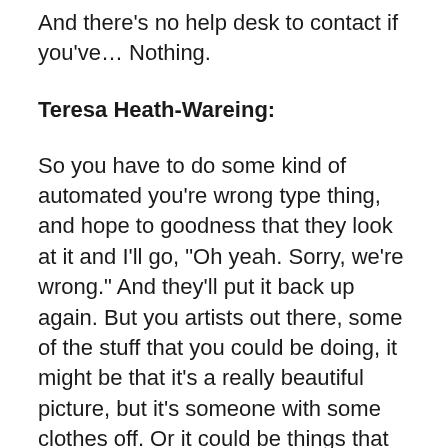And there's no help desk to contact if you've… Nothing.
Teresa Heath-Wareing:
So you have to do some kind of automated you're wrong type thing, and hope to goodness that they look at it and I'll go, “Oh yeah. Sorry, we're wrong.” And they'll put it back up again. But you artists out there, some of the stuff that you could be doing, it might be that it's a really beautiful picture, but it's someone with some clothes off. Or it could be things that they just take the wrong way, or they